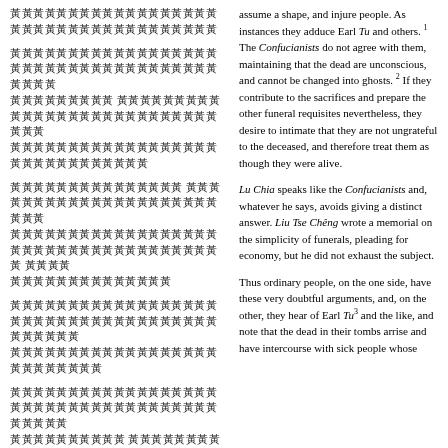[Chinese text block 1]
[Chinese text block 2]
[Chinese text block 3]
[Chinese text block 4]
[Chinese text block 5]
[Chinese text block 6]
[Chinese text block 7]
assume a shape, and injure people. As instances they adduce Earl Tu and others. 1 The Confucianists do not agree with them, maintaining that the dead are unconscious, and cannot be changed into ghosts. 2 If they contribute to the sacrifices and prepare the other funeral requisites nevertheless, they desire to intimate that they are not ungrateful to the deceased, and therefore treat them as though they were alive.
Lu Chia speaks like the Confucianists and, whatever he says, avoids giving a distinct answer. Liu Tse Cheng wrote a memorial on the simplicity of funerals, pleading for economy, but he did not exhaust the subject.
Thus ordinary people, on the one side, have these very doubtful arguments, and, on the other, they hear of Earl Tu3 and the like, and note that the dead in their tombs arrise and have intercourse with sick people whose